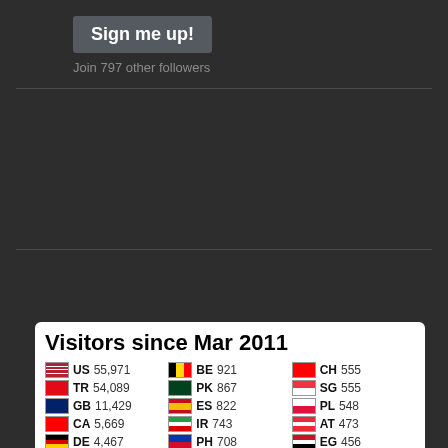Sign me up!
Join 797 other followers
[Figure (screenshot): Visitors since Mar 2011 widget showing country flags, country codes, and visitor counts]
| Flag | Country | Visitors |
| --- | --- | --- |
| US | 55,971 |
| TR | 54,089 |
| GB | 11,429 |
| CA | 5,669 |
| DE | 4,467 |
| FR | 2,789 |
| AU | 2,659 |
| CN | 2,316 |
| IN | 1,623 |
| BR | 1,543 |
| NL | 1,539 |
| RU | 1,376 |
| IE | 1,093 |
| IT | 1,019 |
| BE | 921 |
| PK | 867 |
| ES | 822 |
| IR | 743 |
| PH | 708 |
| NG | 697 |
| GR | 695 |
| AE | 689 |
| SE | 662 |
| SA | 623 |
| NO | 609 |
| MY | 586 |
| RO | 582 |
| ZA | 580 |
| CH | 555 |
| SG | 555 |
| PL | 548 |
| AT | 473 |
| EG | 456 |
| CZ | 448 |
| DK | 440 |
| ID | 418 |
| JP | 394 |
| KR | 367 |
| NZ | 358 |
| FI | 350 |